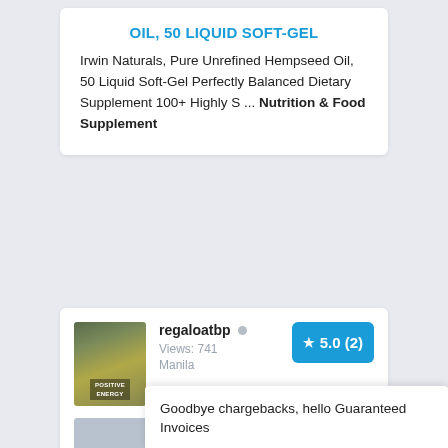OIL, 50 LIQUID SOFT-GEL
Irwin Naturals, Pure Unrefined Hempseed Oil, 50 Liquid Soft-Gel Perfectly Balanced Dietary Supplement 100+ Highly S ... Nutrition & Food Supplement
[Figure (screenshot): Seller profile card with avatar image showing bottles, seller name regaloatbp, dot indicator, Views: 741, Manila, rating badge 5.0 (2), product thumbnail placeholder, and navigation arrow]
Goodbye chargebacks, hello Guaranteed Invoices